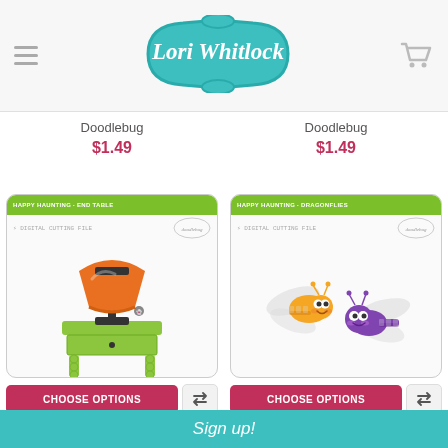[Figure (logo): Lori Whitlock logo badge in teal with decorative border]
Doodlebug
$1.49
Doodlebug
$1.49
[Figure (illustration): Happy Haunting End Table product card — orange lamp on a green table]
[Figure (illustration): Happy Haunting Dragonflies product card — two cute cartoon dragonflies, orange and purple]
CHOOSE OPTIONS
CHOOSE OPTIONS
Happy Haunting - End Table
Happy Haunting - Dragonflies
Sign up!